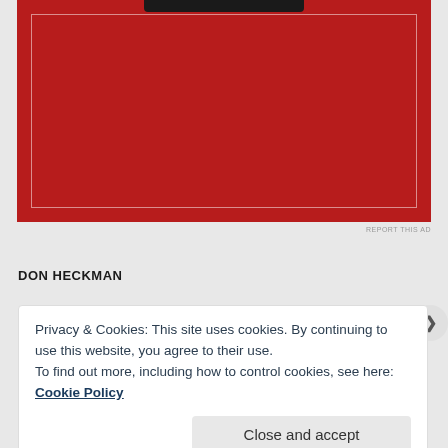[Figure (illustration): Red advertisement banner with a dark inner border outline and a small black bar at the top center]
REPORT THIS AD
DON HECKMAN
Privacy & Cookies: This site uses cookies. By continuing to use this website, you agree to their use.
To find out more, including how to control cookies, see here: Cookie Policy
Close and accept